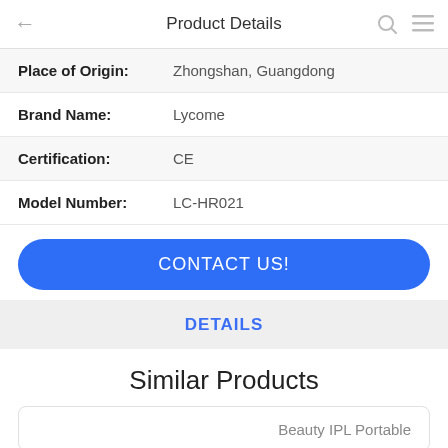Product Details
| Field | Value |
| --- | --- |
| Place of Origin: | Zhongshan, Guangdong |
| Brand Name: | Lycome |
| Certification: | CE |
| Model Number: | LC-HR021 |
CONTACT US!
DETAILS
Similar Products
Beauty IPL Portable